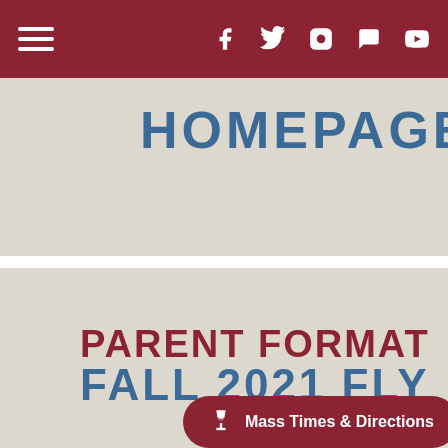Navigation bar with hamburger menu and social media icons (Facebook, Twitter, Instagram, messaging, YouTube)
HOMEPAGE
PARENT FORMAT
FALL 2021 FLY
Mass Times & Directions